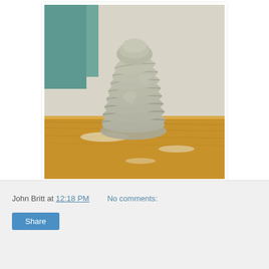[Figure (photo): A coiled clay pottery sculpture on a wooden bat/board in a ceramics studio. The gray clay is stacked in overlapping coils forming a roughly cylindrical vessel. The wooden base shows white clay dust and wear marks. A teal/green surface is visible in the background.]
John Britt at 12:18 PM    No comments:
Share